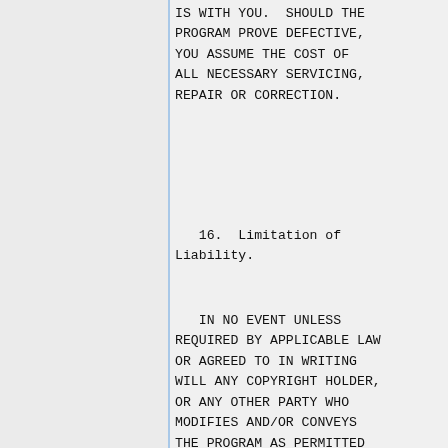IS WITH YOU.  SHOULD THE PROGRAM PROVE DEFECTIVE, YOU ASSUME THE COST OF ALL NECESSARY SERVICING, REPAIR OR CORRECTION.
16.  Limitation of Liability.
IN NO EVENT UNLESS REQUIRED BY APPLICABLE LAW OR AGREED TO IN WRITING WILL ANY COPYRIGHT HOLDER, OR ANY OTHER PARTY WHO MODIFIES AND/OR CONVEYS THE PROGRAM AS PERMITTED ABOVE, BE LIABLE TO YOU FOR DAMAGES, INCLUDING ANY GENERAL, SPECIAL, INCIDENTAL OR CONSEQUENTIAL DAMAGES ARISING OUT OF THE USE OR INABILITY TO USE THE PROGRAM (INCLUDING BUT NOT LIMITED TO LOSS OF